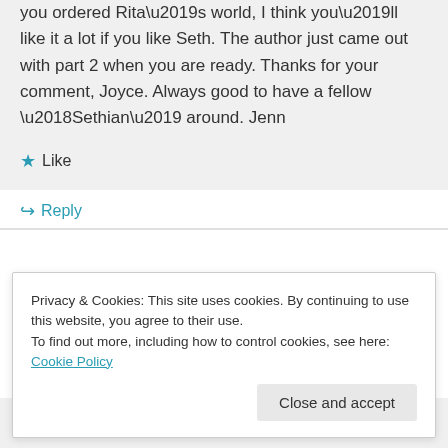you ordered Rita’s world, I think you’ll like it a lot if you like Seth. The author just came out with part 2 when you are ready. Thanks for your comment, Joyce. Always good to have a fellow ‘Sethian’ around. Jenn
★ Like
↳ Reply
Privacy & Cookies: This site uses cookies. By continuing to use this website, you agree to their use.
To find out more, including how to control cookies, see here: Cookie Policy
Close and accept
here. I’m an old Seth reader and was thrilled to